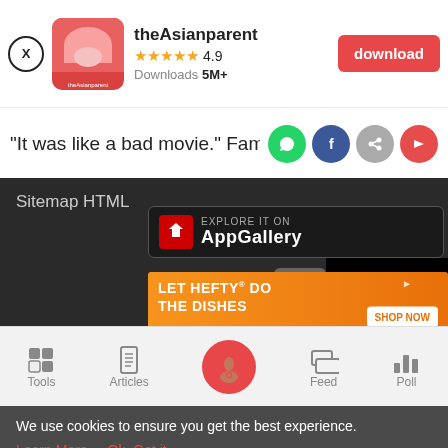[Figure (screenshot): App download banner for theAsianparent app showing close button, app icon, name, 4.9 star rating, 5M+ downloads, and red download button]
"It was like a bad movie." Family of 5
[Figure (screenshot): Social share icons: WhatsApp (green), Facebook (blue), link (grey), forward (red)]
Sitemap HTML
[Figure (screenshot): Huawei AppGallery explore banner on dark background]
[Figure (screenshot): LET HEFTY DO THE DISHES advertisement banner with orange background and SHOP NOW button]
[Figure (screenshot): Bottom navigation bar with Tools, Articles, home (pink circle), Feed, Poll icons]
We use cookies to ensure you get the best experience.
Learn More   Ok, Got it